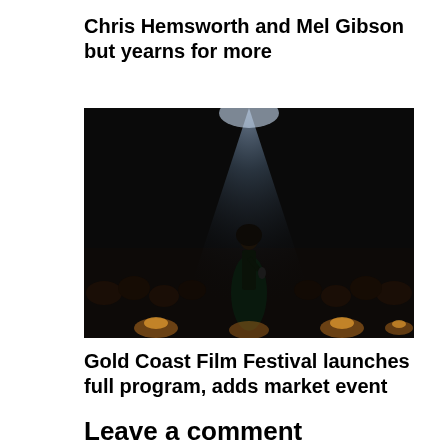Chris Hemsworth and Mel Gibson but yearns for more
[Figure (photo): A performer silhouetted on stage under a spotlight, holding a microphone, with an audience visible in the background and warm ambient lights on stage]
Gold Coast Film Festival launches full program, adds market event
Leave a comment